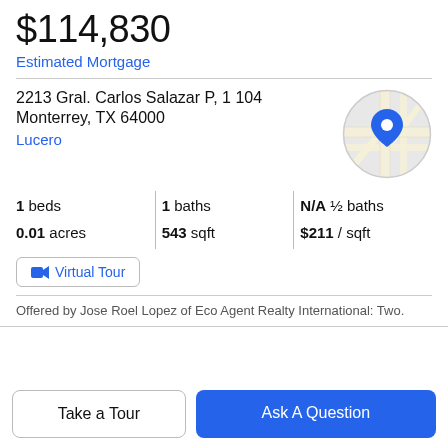$114,830
Estimated Mortgage
2213 Gral. Carlos Salazar P, 1 104
Monterrey, TX 64000
Lucero
[Figure (map): Circular map thumbnail showing street map with blue location pin marker]
1 beds | 1 baths | N/A ½ baths | 0.01 acres | 543 sqft | $211 / sqft
Virtual Tour
Offered by Jose Roel Lopez of Eco Agent Realty International: Two.
Take a Tour
Ask A Question